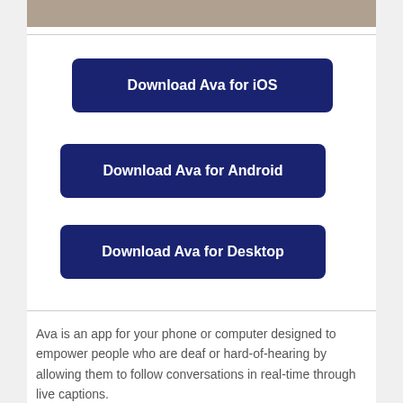[Figure (photo): Partial photo strip at the top of the page]
Download Ava for iOS
Download Ava for Android
Download Ava for Desktop
Ava is an app for your phone or computer designed to empower people who are deaf or hard-of-hearing by allowing them to follow conversations in real-time through live captions.